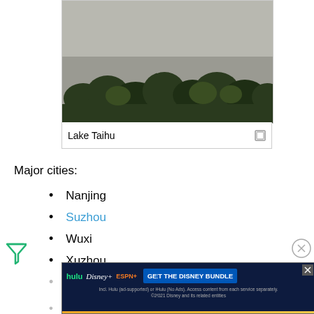[Figure (photo): Photo of Lake Taihu showing trees in foreground and grey water/sky in background]
Lake Taihu
Major cities:
Nanjing
Suzhou
Wuxi
Xuzhou
Changzhou
Lianyungang
[Figure (other): Hulu Disney+ ESPN advertisement: GET THE DISNEY BUNDLE. Incl. Hulu (ad-supported) or Hulu (No Ads). Access content from each service separately. ©2021 Disney and its related entities]